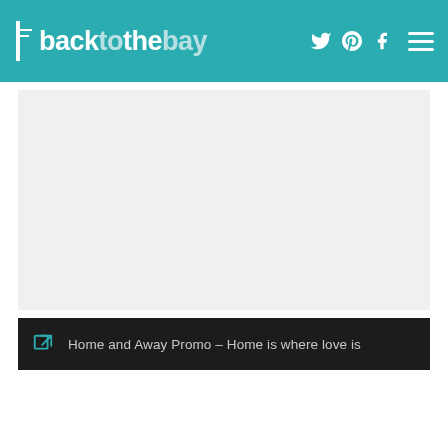backtothebay
[Figure (photo): Embedded video or image placeholder (light gray rectangle)]
Home and Away Promo – Home is where love is